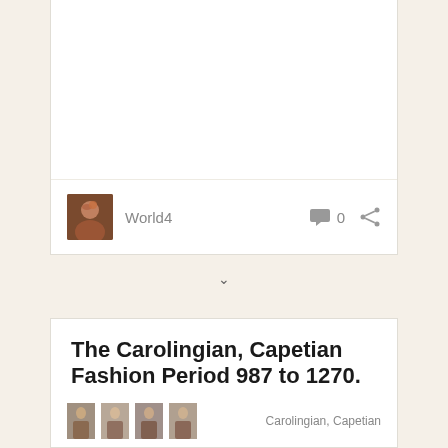[Figure (photo): Top card with blank white content area, showing an author avatar and 'World4' username with comment count 0 and share icon]
World4
0
The Carolingian, Capetian Fashion Period 987 to 1270.
Carolingian, Capetian